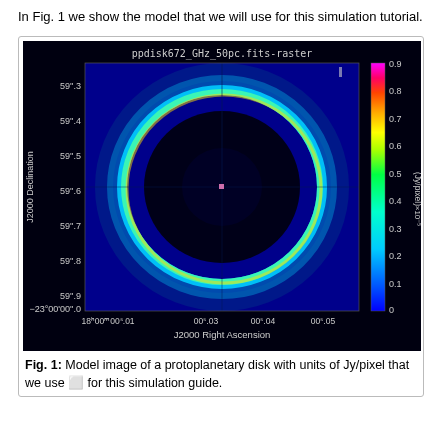In Fig. 1 we show the model that we will use for this simulation tutorial.
[Figure (continuous-plot): False-color astronomical image of a protoplanetary disk (ppdisk672_GHz_50pc.fits-raster). The image shows a ring-like disk structure glowing in cyan/green/yellow/red against a dark blue background. A colorbar on the right shows intensity in units of (Jy/pixel) x10^-5 ranging from 0 to 0.9. Y-axis shows J2000 Declination from 59".3 to -23 deg 00'00".0, X-axis shows J2000 Right Ascension from 18h00m00s.01 to 00s.05.]
Fig. 1: Model image of a protoplanetary disk with units of Jy/pixel that we use for this simulation guide.